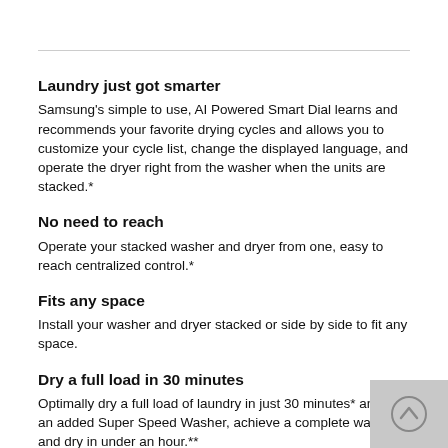Laundry just got smarter
Samsung's simple to use, AI Powered Smart Dial learns and recommends your favorite drying cycles and allows you to customize your cycle list, change the displayed language, and operate the dryer right from the washer when the units are stacked.*
No need to reach
Operate your stacked washer and dryer from one, easy to reach centralized control.*
Fits any space
Install your washer and dryer stacked or side by side to fit any space.
Dry a full load in 30 minutes
Optimally dry a full load of laundry in just 30 minutes* and with an added Super Speed Washer, achieve a complete wash and dry in under an hour.**